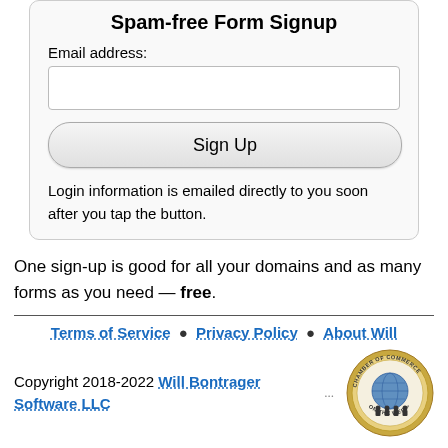Spam-free Form Signup
Email address:
Sign Up
Login information is emailed directly to you soon after you tap the button.
One sign-up is good for all your domains and as many forms as you need — free.
Terms of Service • Privacy Policy • About Will
Copyright 2018-2022 Will Bontrager Software LLC
[Figure (logo): Chamber of Commerce on the Web badge seal]